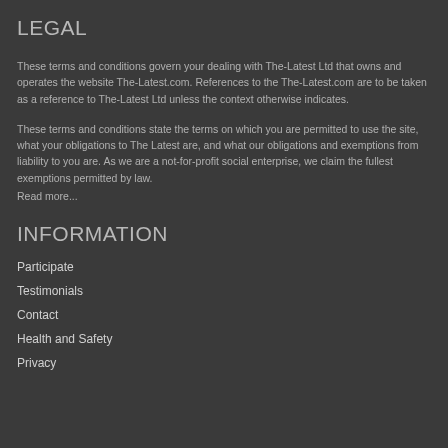LEGAL
These terms and conditions govern your dealing with The-Latest Ltd that owns and operates the website The-Latest.com. References to the The-Latest.com are to be taken as a reference to The-Latest Ltd unless the context otherwise indicates.
These terms and conditions state the terms on which you are permitted to use the site, what your obligations to The Latest are, and what our obligations and exemptions from liability to you are. As we are a not-for-profit social enterprise, we claim the fullest exemptions permitted by law.
Read more...
INFORMATION
Participate
Testimonials
Contact
Health and Safety
Privacy